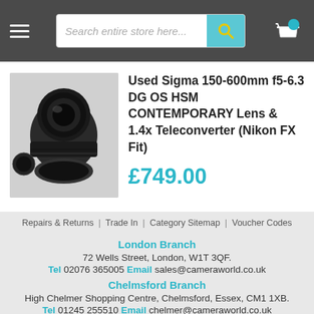Search entire store here...
Used Sigma 150-600mm f5-6.3 DG OS HSM CONTEMPORARY Lens & 1.4x Teleconverter (Nikon FX Fit)
£749.00
[Figure (photo): Photo of a large black telephoto zoom lens (Sigma 150-600mm) lying on its side with lens cap visible]
Repairs & Returns | Trade In | Category Sitemap | Voucher Codes
London Branch
72 Wells Street, London, W1T 3QF.
Tel 02076 365005 Email sales@cameraworld.co.uk
Chelmsford Branch
High Chelmer Shopping Centre, Chelmsford, Essex, CM1 1XB.
Tel 01245 255510 Email chelmer@cameraworld.co.uk
Stevenage Branch